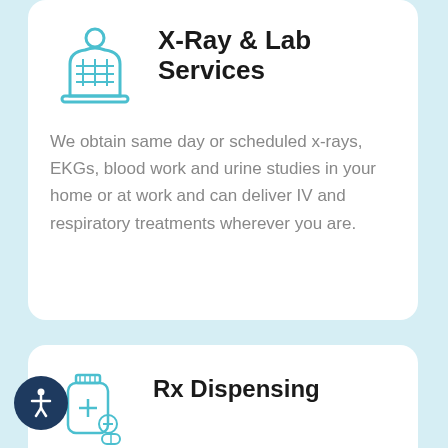[Figure (illustration): Teal outline icon of a human torso with ribcage/x-ray image on a pedestal, representing X-Ray services]
X-Ray & Lab Services
We obtain same day or scheduled x-rays, EKGs, blood work and urine studies in your home or at work and can deliver IV and respiratory treatments wherever you are.
[Figure (illustration): Teal outline icon of a medicine bottle with a cross and pills beside it, representing Rx Dispensing]
Rx Dispensing
Need medicine now? We can deliver on location medication for a broad range